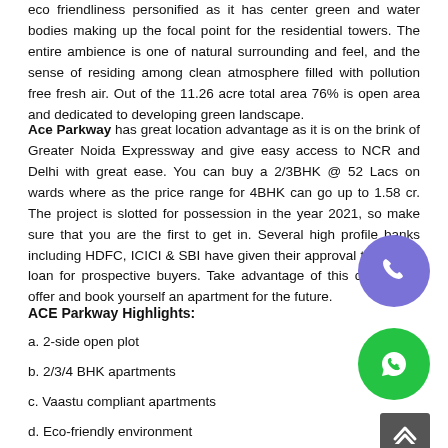eco friendliness personified as it has center green and water bodies making up the focal point for the residential towers. The entire ambience is one of natural surrounding and feel, and the sense of residing among clean atmosphere filled with pollution free fresh air. Out of the 11.26 acre total area 76% is open area and dedicated to developing green landscape.
Ace Parkway has great location advantage as it is on the brink of Greater Noida Expressway and give easy access to NCR and Delhi with great ease. You can buy a 2/3BHK @ 52 Lacs on wards where as the price range for 4BHK can go up to 1.58 cr. The project is slotted for possession in the year 2021, so make sure that you are the first to get in. Several high profile banks including HDFC, ICICI & SBI have given their approval to provide loan for prospective buyers. Take advantage of this convenient offer and book yourself an apartment for the future.
ACE Parkway Highlights:
a. 2-side open plot
b. 2/3/4 BHK apartments
c. Vaastu compliant apartments
d. Eco-friendly environment